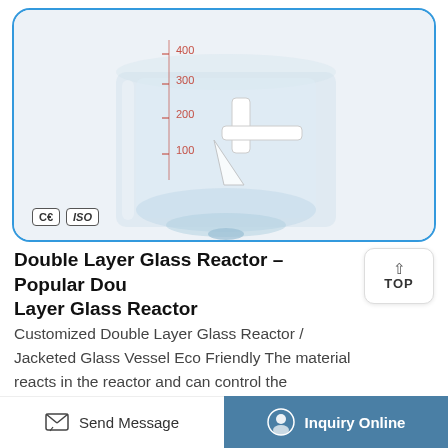[Figure (photo): Double layer glass reactor / jacketed glass vessel with graduated scale markings (100, 200, 300, 400) and a white stopcock valve, shown inside a blue-bordered rounded product card. CE and ISO badges visible in bottom-left corner.]
Double Layer Glass Reactor – Popular Double Layer Glass Reactor
Customized Double Layer Glass Reactor / Jacketed Glass Vessel Eco Friendly The material reacts in the reactor and can control the evaporation and reflux of the reaction solution. After the reaction, the material can be released from the outlet at the bottom of the kettle, and the